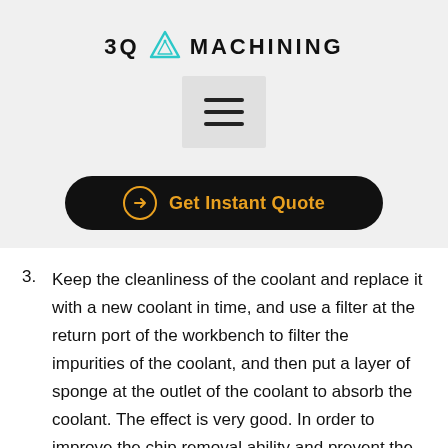3Q MACHINING
[Figure (other): Hamburger menu icon button with three horizontal lines on a light gray background]
[Figure (other): Black rounded pill-shaped button with orange arrow icon and text: Get Instant Quote]
Keep the cleanliness of the coolant and replace it with a new coolant in time, and use a filter at the return port of the workbench to filter the impurities of the coolant, and then put a layer of sponge at the outlet of the coolant to absorb the coolant. The effect is very good. In order to improve the chip removal ability and prevent the processing path from being deformed, detergent and soap bar can also be added to the coolant, so that the washing performance becomes better, the chip removal ability is increased, and the chip removal state is